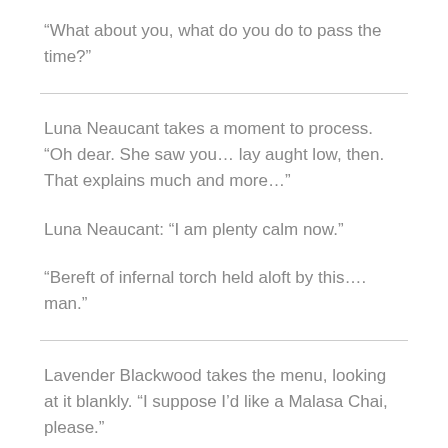“What about you, what do you do to pass the time?”
Luna Neaucant takes a moment to process. “Oh dear. She saw you… lay aught low, then. That explains much and more…”
Luna Neaucant: “I am plenty calm now.”
“Bereft of infernal torch held aloft by this…. man.”
Lavender Blackwood takes the menu, looking at it blankly. “I suppose I’d like a Malasa Chai, please.”
Geir Brandt takes a step back and spreads his